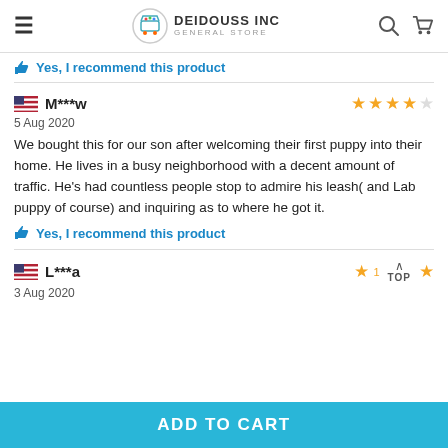DEIDOUSS INC GENERAL STORE
Yes, I recommend this product
M***w — 5 Aug 2020 — 4 stars — We bought this for our son after welcoming their first puppy into their home. He lives in a busy neighborhood with a decent amount of traffic. He's had countless people stop to admire his leash( and Lab puppy of course) and inquiring as to where he got it. — Yes, I recommend this product
L***a — 3 Aug 2020 — 1 star
ADD TO CART